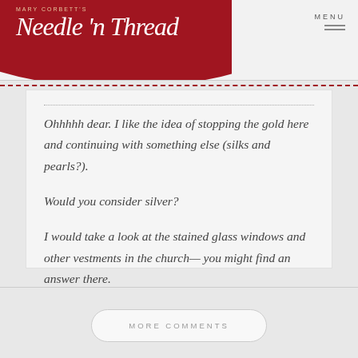Mary Corbett's Needle 'n Thread — MENU
Ohhhhh dear. I like the idea of stopping the gold here and continuing with something else (silks and pearls?).

Would you consider silver?

I would take a look at the stained glass windows and other vestments in the church— you might find an answer there.
MORE COMMENTS